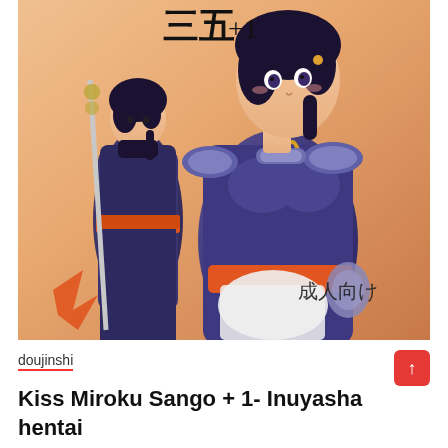[Figure (illustration): Anime manga cover art showing two characters from Inuyasha. Foreground: a female character (Sango) in a dark navy/purple form-fitting bodysuit with orange accents, shoulder armor with light blue trim, gold crescent ornament at collar, and an orange sash belt. Her hair is black and she faces forward. Background: a male character (Miroku) in dark robes holding a staff with rings, facing away. Japanese text characters visible at top (三五+1) and lower right (成人向け). Background is warm orange/peach tones.]
doujinshi
Kiss Miroku Sango + 1- Inuyasha hentai